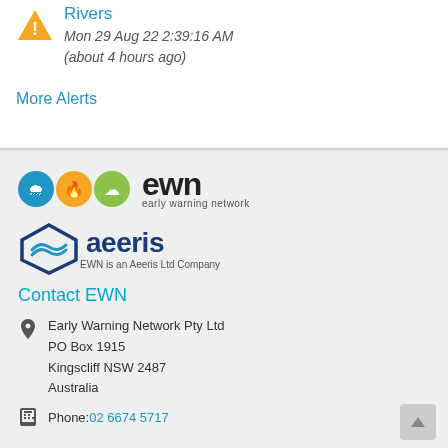Rivers
Mon 29 Aug 22 2:39:16 AM
(about 4 hours ago)
More Alerts
[Figure (logo): EWN Early Warning Network logo with three colored circles (blue rain, orange fire, green cloud) and text 'ewn early warning network']
[Figure (logo): Aeeris logo with hexagon/wave emblem and text 'aeeris EWN is an Aeeris Ltd Company']
Contact EWN
Early Warning Network Pty Ltd
PO Box 1915
Kingscliff NSW 2487
Australia
Phone: 02 6674 5717